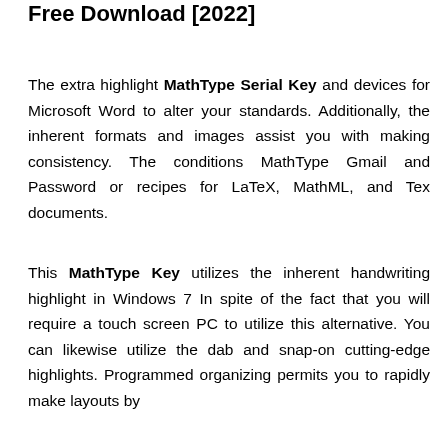Free Download [2022]
The extra highlight MathType Serial Key and devices for Microsoft Word to alter your standards. Additionally, the inherent formats and images assist you with making consistency. The conditions MathType Gmail and Password or recipes for LaTeX, MathML, and Tex documents.
This MathType Key utilizes the inherent handwriting highlight in Windows 7 In spite of the fact that you will require a touch screen PC to utilize this alternative. You can likewise utilize the dab and snap-on cutting-edge highlights. Programmed organizing permits you to rapidly make layouts by